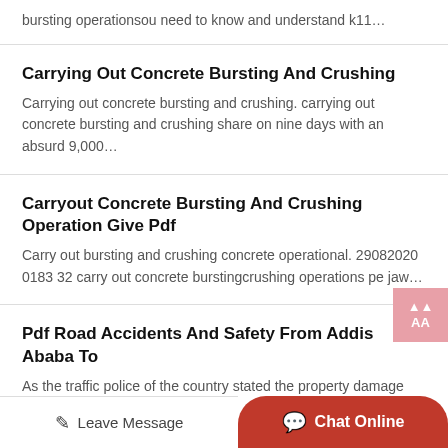bursting operationsou need to know and understand k11…
Carrying Out Concrete Bursting And Crushing
Carrying out concrete bursting and crushing. carrying out concrete bursting and crushing share on nine days with an absurd 9,000…
Carryout Concrete Bursting And Crushing Operation Give Pdf
Carry out bursting and crushing concrete operational. 29082020 0183 32 carry out concrete burstingcrushing operations pe jaw…
Pdf Road Accidents And Safety From Addis Ababa To
As the traffic police of the country stated the property damage
Leave Message   Chat Online